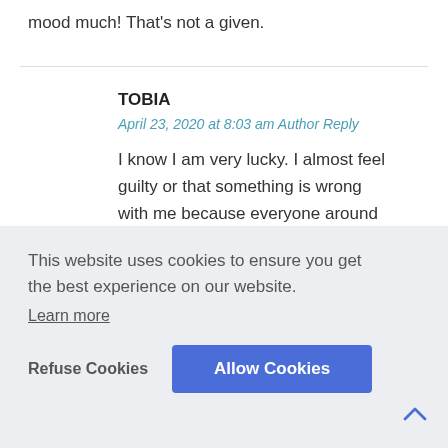mood much! That's not a given.
TOBIA
April 23, 2020 at 8:03 am Author Reply
I know I am very lucky. I almost feel guilty or that something is wrong with me because everyone around [...]g.
This website uses cookies to ensure you get the best experience on our website. Learn more
Refuse Cookies
Allow Cookies